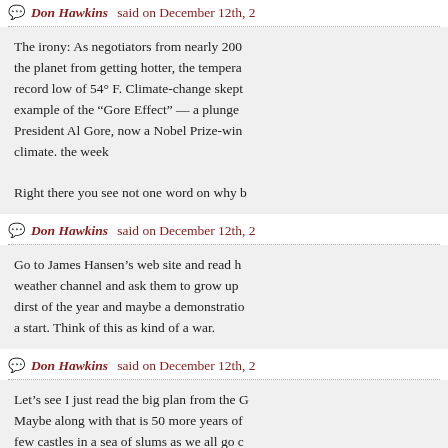Don Hawkins said on December 11th, 2
The irony: As negotiators from nearly 200 the planet from getting hotter, the tempera record low of 54° F. Climate-change skept example of the “Gore Effect” — a plunge President Al Gore, now a Nobel Prize-win climate. the week
Right there you see not one word on why b
Don Hawkins said on December 12th, 2
Go to James Hansen’s web site and read h weather channel and ask them to grow up dirst of the year and maybe a demonstratio a start. Think of this as kind of a war.
Don Hawkins said on December 12th, 2
Let’s see I just read the big plan from the C Maybe along with that is 50 more years of few castles in a sea of slums as we all go c